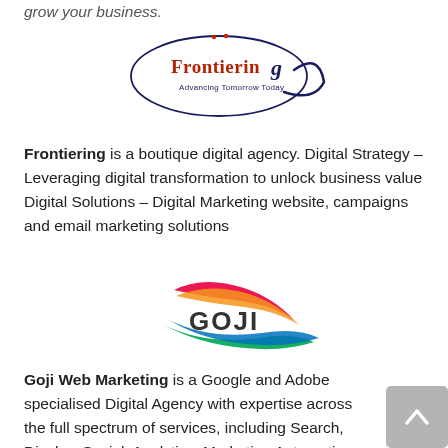grow your business.
[Figure (logo): Frontiering logo — oval outline with 'Frontiering' text in dark red/orange and tagline 'Advancing Tomorrow Today' in dark blue, with decorative swirl]
Frontiering is a boutique digital agency. Digital Strategy – Leveraging digital transformation to unlock business value Digital Solutions – Digital Marketing website, campaigns and email marketing solutions
[Figure (logo): Goji Web Marketing logo — colorful swoosh/wave design in red, orange, green, and blue with 'GOJI' text in dark gray]
Goji Web Marketing is a Google and Adobe specialised Digital Agency with expertise across the full spectrum of services, including Search, Display, Social, Analytics, Marketing Automation and Website Personalisation. With offices in Sydney, Melbourne and Auckland, we deliver Adobe